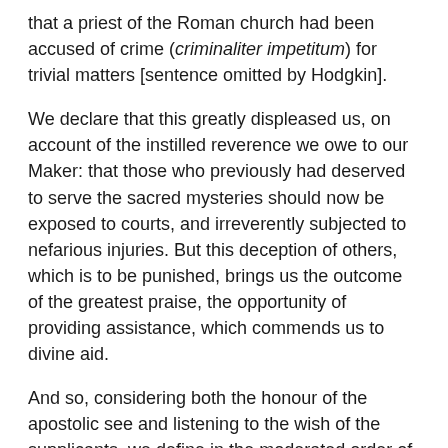that a priest of the Roman church had been accused of crime (criminaliter impetitum) for trivial matters [sentence omitted by Hodgkin].
We declare that this greatly displeased us, on account of the instilled reverence we owe to our Maker: that those who previously had deserved to serve the sacred mysteries should now be exposed to courts, and irreverently subjected to nefarious injuries. But this deception of others, which is to be punished, brings us the outcome of the greatest praise, the opportunity of providing assistance, which commends us to divine aid.
And so, considering both the honour of the apostolic see and listening to the wish of the supplicants, we define in the moderated order of this decree that, if anyone believes that someone pertaining to the Roman clergy should be accused in no matter what likely matter, then let him first go to be heard at the judgement of the holy pope, so that he [the pope] shall